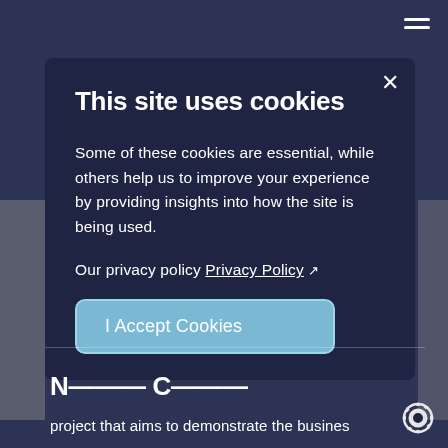[Figure (screenshot): Cookie consent modal dialog on a dark navy website background. The modal contains a title 'This site uses cookies', descriptive body text, a privacy policy link, and an 'I Accept Cookies' button. A hamburger menu icon appears in the top-right corner. At the bottom, partially visible text reads 'project that aims to demonstrate the busines' with a gear icon in the bottom-right corner.]
This site uses cookies
Some of these cookies are essential, while others help us to improve your experience by providing insights into how the site is being used.
Our privacy policy Privacy Policy ↗
I Accept Cookies
project that aims to demonstrate the busines